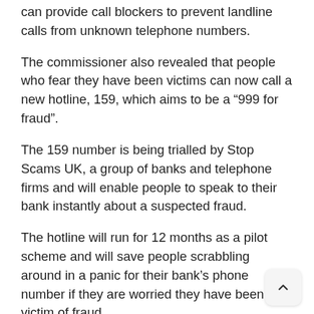can provide call blockers to prevent landline calls from unknown telephone numbers.
The commissioner also revealed that people who fear they have been victims can now call a new hotline, 159, which aims to be a “999 for fraud”.
The 159 number is being trialled by Stop Scams UK, a group of banks and telephone firms and will enable people to speak to their bank instantly about a suspected fraud.
The hotline will run for 12 months as a pilot scheme and will save people scrabbling around in a panic for their bank’s phone number if they are worried they have been a victim of fraud.
Mr Dunbobbin said: “These cruel and heartless fraudsters can be very plausible, so it is vital that